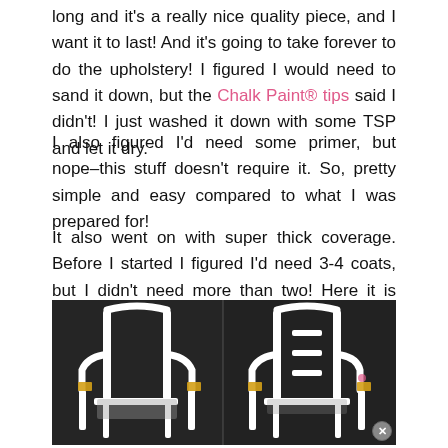long and it's a really nice quality piece, and I want it to last! And it's going to take forever to do the upholstery! I figured I would need to sand it down, but the Chalk Paint® tips said I didn't! I just washed it down with some TSP and let it dry.
I also figured I'd need some primer, but nope–this stuff doesn't require it. So, pretty simple and easy compared to what I was prepared for!
It also went on with super thick coverage. Before I started I figured I'd need 3-4 coats, but I didn't need more than two! Here it is with only one coat.
[Figure (photo): Two side-by-side photos of a white-painted French-style chair frame with upholstery removed, showing front and back views against a dark background. Yellow masking tape visible on armrests.]